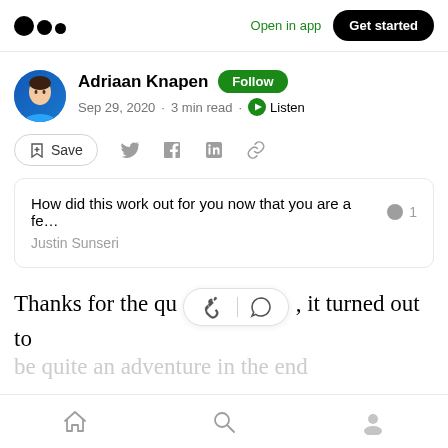Open in app  Get started
Adriaan Knapen · Follow · Sep 29, 2020 · 3 min read · Listen
Save
How did this work out for you now that you are a fe... 1
Justin Sunseri
Thanks for the qu... it turned out to